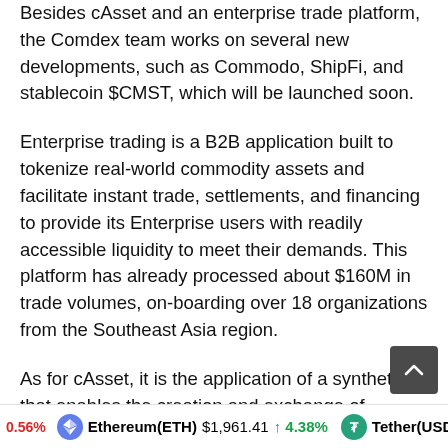Besides cAsset and an enterprise trade platform, the Comdex team works on several new developments, such as Commodo, ShipFi, and stablecoin $CMST, which will be launched soon.
Enterprise trading is a B2B application built to tokenize real-world commodity assets and facilitate instant trade, settlements, and financing to provide its Enterprise users with readily accessible liquidity to meet their demands. This platform has already processed about $160M in trade volumes, on-boarding over 18 organizations from the Southeast Asia region.
As for cAsset, it is the application of a synthetic that enables the creation and exchange of synthetic assets using IBC-enabled assets as collateral. Once users have their synthetic assets, they can start using them to earn yields. Recently, the team had a live demonstration of cAsset, which gave the community a first look at its “groundbreaking” synthetics
0.56%  Ethereum(ETH)  $1,961.41  ↑ 4.38%  Tether(USDT